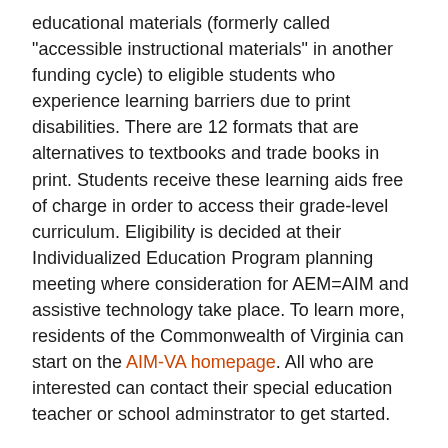educational materials (formerly called "accessible instructional materials" in another funding cycle) to eligible students who experience learning barriers due to print disabilities. There are 12 formats that are alternatives to textbooks and trade books in print. Students receive these learning aids free of charge in order to access their grade-level curriculum. Eligibility is decided at their Individualized Education Program planning meeting where consideration for AEM=AIM and assistive technology take place. To learn more, residents of the Commonwealth of Virginia can start on the AIM-VA homepage. All who are interested can contact their special education teacher or school adminstrator to get started.
The Center for Online Learning for Students with Disabilities Identifies and verifies trends and issues related to the participation of students with disabilities in K-12 online learning in a range of forms and contexts (e.g., virtual schools, online courses, expository, interactive, etc.). It is funded by the Office of Special Education Programs at the University of Kansas, with CAST and the National Association of State Directors of Special Education.